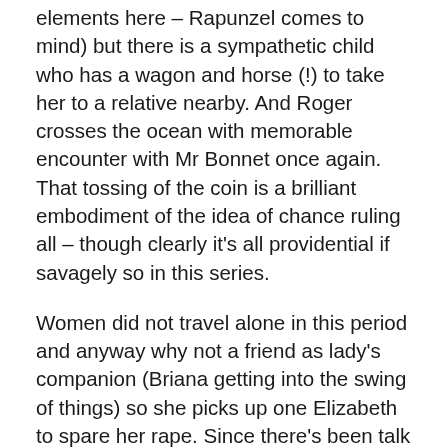elements here – Rapunzel comes to mind) but there is a sympathetic child who has a wagon and horse (!) to take her to a relative nearby. And Roger crosses the ocean with memorable encounter with Mr Bonnet once again. That tossing of the coin is a brilliant embodiment of the idea of chance ruling all – though clearly it's all providential if savagely so in this series.
Women did not travel alone in this period and anyway why not a friend as lady's companion (Briana getting into the swing of things) so she picks up one Elizabeth to spare her rape. Since there's been talk about the actress playing the role: her held-back stance and plainer looks make her just right: perhaps she is a bit well-fed, for servants in this era were smaller, thinner (they didn't get a helluva a lot to eat).
This is a rare episode where neither Sam Heughan or